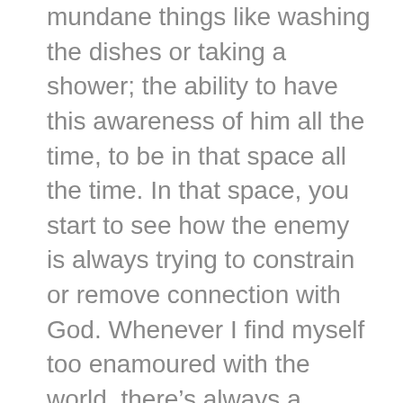mundane things like washing the dishes or taking a shower; the ability to have this awareness of him all the time, to be in that space all the time. In that space, you start to see how the enemy is always trying to constrain or remove connection with God. Whenever I find myself too enamoured with the world, there's always a moment to pause and reflect and ask, “Do I see what’s happening right now?”
Satan can only attack outwards going in, so he tries to trick you into feelings that you think are your own. His goal is that you would internalize those feelings and